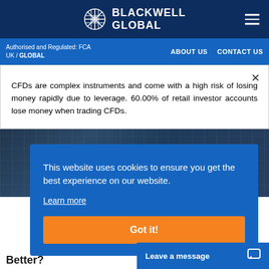BLACKWELL GLOBAL
Authorised and Regulated: FCA UK / GLOBAL   ABOUT US   CONTACT US
CFDs are complex instruments and come with a high risk of losing money rapidly due to leverage. 60.00% of retail investor accounts lose money when trading CFDs.
[Figure (photo): Trading screen background with financial data displays]
This website uses cookies to ensure you get the best experience on our website. Learn more
Got it!
Leave a message
Better?